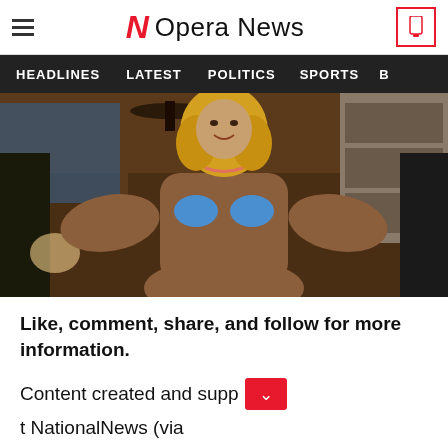Opera News
[Figure (photo): A female bodybuilder posing indoors, wearing a blue bikini, with large muscular arms and curly blonde hair, standing in what appears to be a home setting.]
Like, comment, share, and follow for more information.
Content created and supp [dropdown button] NationalNews (via